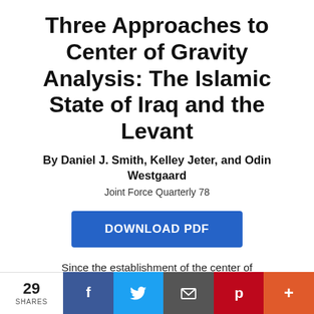Three Approaches to Center of Gravity Analysis: The Islamic State of Iraq and the Levant
By Daniel J. Smith, Kelley Jeter, and Odin Westgaard
Joint Force Quarterly 78
[Figure (other): Blue DOWNLOAD PDF button]
Since the establishment of the center of
[Figure (infographic): Social sharing bar at the bottom: 29 SHARES, Facebook, Twitter, Email, Pinterest, More buttons]